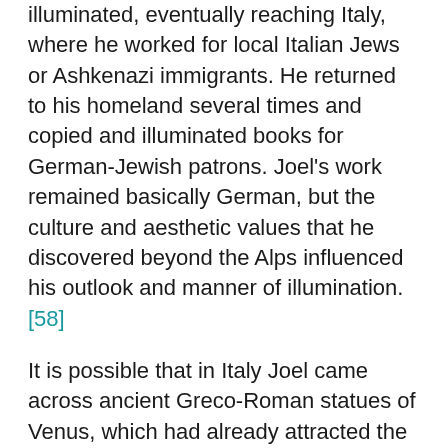illuminated, eventually reaching Italy, where he worked for local Italian Jews or Ashkenazi immigrants. He returned to his homeland several times and copied and illuminated books for German-Jewish patrons. Joel's work remained basically German, but the culture and aesthetic values that he discovered beyond the Alps influenced his outlook and manner of illumination.[58]
It is possible that in Italy Joel came across ancient Greco-Roman statues of Venus, which had already attracted the attention of high-medieval travelers[59] and aroused renewed interest in the Renaissance.[60] These statues depict the naked goddess rising from bathing, a towel often lies beside her; the Capitoline Venus is a well-known instance.[61] Similar statues, or